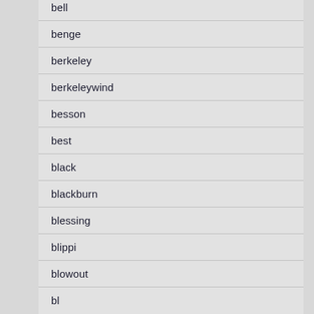bell
benge
berkeley
berkeleywind
besson
best
black
blackburn
blessing
blippi
blowout
bl…